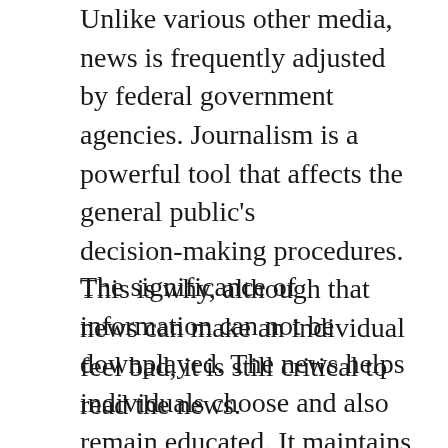Unlike various other media, news is frequently adjusted by federal government agencies. Journalism is a powerful tool that affects the general public's decision-making procedures. This is why, although that news can make an individual feel bad, it is still critical to read the news.
The significance of information can not be downplayed. The news helps individuals choose and also remain educated. It maintains them notified concerning the current happenings on the planet. By checking out the day-to-day news, people can make enlightened selections and safeguard themselves from hazardous information. It also helps them make informed decisions, which is where the media can be of a